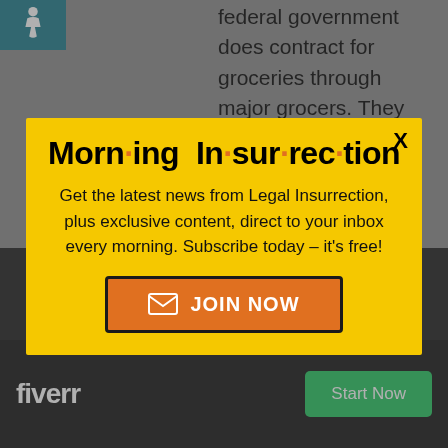[Figure (screenshot): Accessibility wheelchair icon in teal/dark cyan square, top-left corner]
federal government does contract for groceries through major grocers. They also contract for
[Figure (screenshot): Modal popup with yellow background: Morning Insurrection newsletter signup. Get the latest news from Legal Insurrection, plus exclusive content, direct to your inbox every morning. Subscribe today – it's free! JOIN NOW button in orange.]
o ations, but that tive
[Figure (screenshot): Fiverr advertisement banner: fiverr logo in white on black background, Start Now green button]
Thare Fichenow...